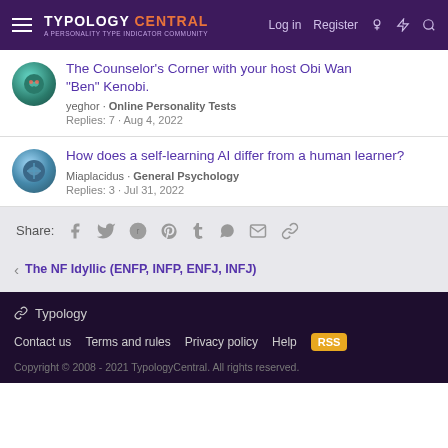Typology Central - A Personality Type Indicator Community | Log in | Register
The Counselor's Corner with your host Obi Wan "Ben" Kenobi.
yeghor · Online Personality Tests
Replies: 7 · Aug 4, 2022
How does a self-learning AI differ from a human learner?
Miaplacidus · General Psychology
Replies: 3 · Jul 31, 2022
Share:
< The NF Idyllic (ENFP, INFP, ENFJ, INFJ)
Typology
Contact us  Terms and rules  Privacy policy  Help
Copyright © 2008 - 2021 TypologyCentral. All rights reserved.